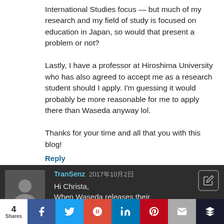International Studies focus — but much of my research and my field of study is focused on education in Japan, so would that present a problem or not?

Lastly, I have a professor at Hiroshima University who has also agreed to accept me as a research student should I apply. I'm guessing it would probably be more reasonable for me to apply there than Waseda anyway lol.

Thanks for your time and all that you with this blog!
Reply
TranSenz 2017年10月2日
Hi Christa,
When Waseda releases their